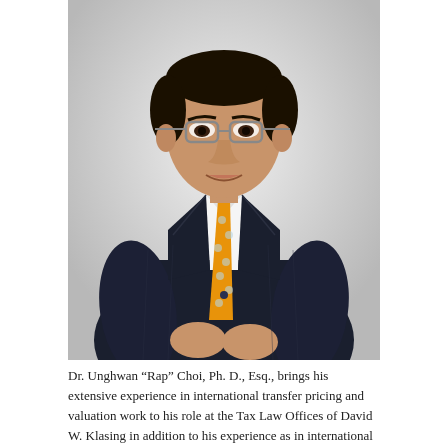[Figure (photo): Professional headshot of Dr. Unghwan 'Rap' Choi, Ph.D., Esq., an Asian man in a dark navy pinstripe suit with an orange/gold patterned tie and glasses, standing against a light gray background.]
Dr. Unghwan “Rap” Choi, Ph. D., Esq., brings his extensive experience in international transfer pricing and valuation work to his role at the Tax Law Offices of David W. Klasing in addition to his experience as in international tax attorney. Dr.